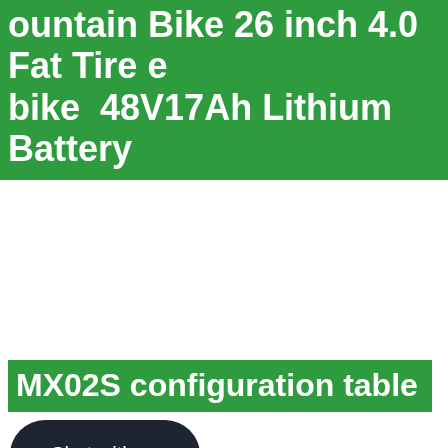ountain Bike 26 inch 4.0 Fat Tire ebike 48V17Ah Lithium Battery
MX02S configuration table
[Figure (other): Dark rounded rectangle button with text 'Chat with us']
Color: black / blue